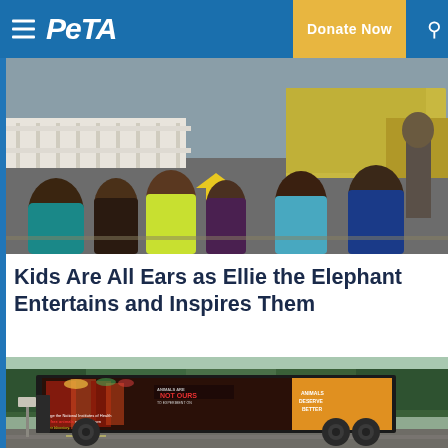PETA — Donate Now
[Figure (photo): Children sitting on pavement viewed from behind watching a PETA truck outdoors on a sunny day]
Kids Are All Ears as Ellie the Elephant Entertains and Inspires Them
[Figure (photo): A PETA mobile billboard truck driving on a suburban road displaying an Animals Are Not Ours message with text urging the National Institutes of Health to free animals and shut down their laboratory]